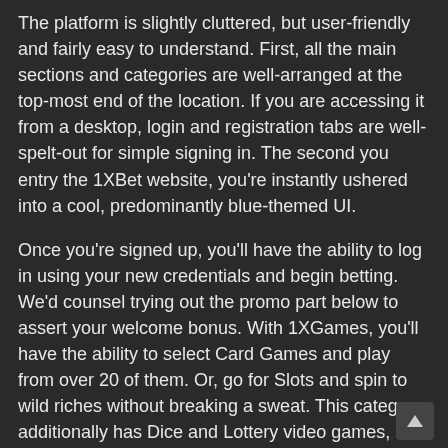The platform is slightly cluttered, but user-friendly and fairly easy to understand. First, all the main sections and categories are well-arranged at the top-most end of the location. If you are accessing it from a desktop, login and registration tabs are well-spelt-out for simple signing in. The second you entry the 1XBet website, you're instantly ushered into a cool, predominantly blue-themed UI.
Once you're signed up, you'll have the ability to log in using your new credentials and begin betting. We'd counsel trying out the promo part below to assert your welcome bonus. With 1XGames, you'll have the ability to select Card Games and play from over 20 of them. Or, go for Slots and spin to wild riches without breaking a sweat. This category additionally has Dice and Lottery video games, all customized for a fantastic online gaming expertise.
There are plenty of other prizes out there too like a MacBook Pro and bonus points, making this one of the better betting provides for 1xBet. At the time of writing money out bets are additionally now obtainable, one thing that the betting agency didn't start out with. However, the recognition of having the ability to cash out or partially cash out has lead the corporate to include this will need